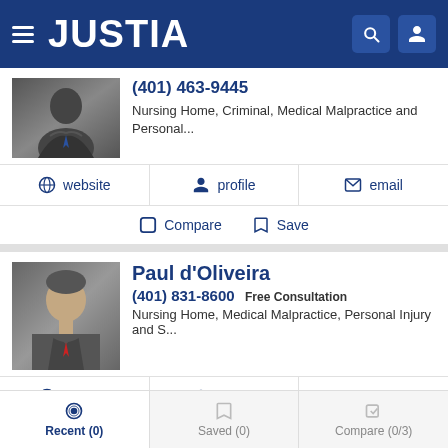JUSTIA
(401) 463-9445
Nursing Home, Criminal, Medical Malpractice and Personal...
website  profile  email
Compare  Save
Paul d'Oliveira
(401) 831-8600 Free Consultation
Nursing Home, Medical Malpractice, Personal Injury and S...
website  profile  email
Compare  Save
Recent (0)  Saved (0)  Compare (0/3)